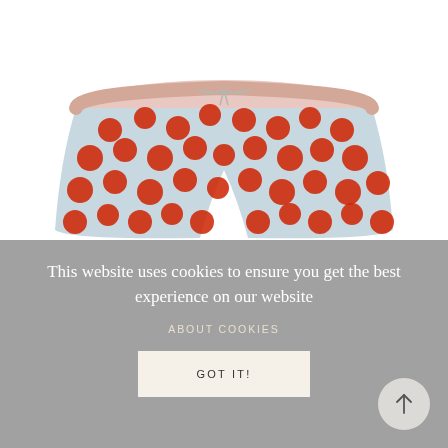[Figure (photo): Product photo of light blue shorts with red polka dots and a drawstring waist, shown from above on a white background.]
This website uses cookies to ensure you get the best experience on our website
ABOUT COOKIES
GOT IT!